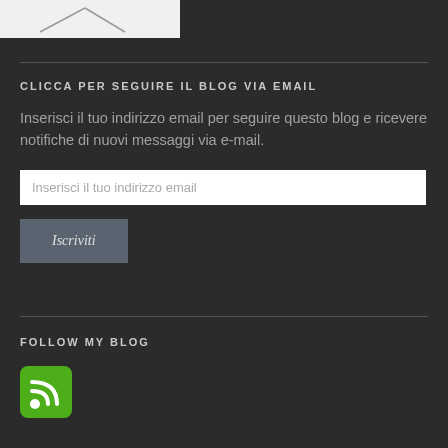[Figure (illustration): Partial white image with geometric line drawing visible at top of page]
CLICCA PER SEGUIRE IL BLOG VIA EMAIL
Inserisci il tuo indirizzo email per seguire questo blog e ricevere notifiche di nuovi messaggi via e-mail.
[Figure (screenshot): Email input field with placeholder text: Inserisci il tuo indirizzo email]
[Figure (screenshot): Button labeled Iscriviti]
FOLLOW MY BLOG
[Figure (logo): RSS feed icon — green rounded square with white RSS symbol]